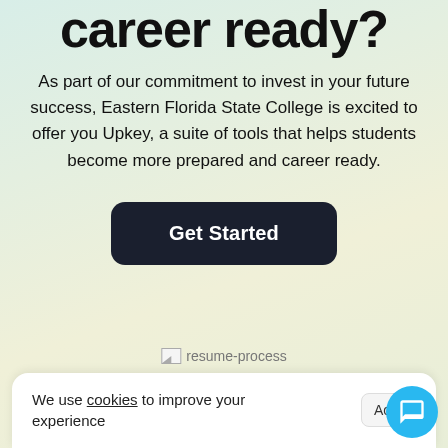career ready?
As part of our commitment to invest in your future success, Eastern Florida State College is excited to offer you Upkey, a suite of tools that helps students become more prepared and career ready.
[Figure (other): Dark rounded rectangle button labeled 'Get Started']
[Figure (other): Broken image placeholder labeled 'resume-process']
We use cookies to improve your experience
Acce